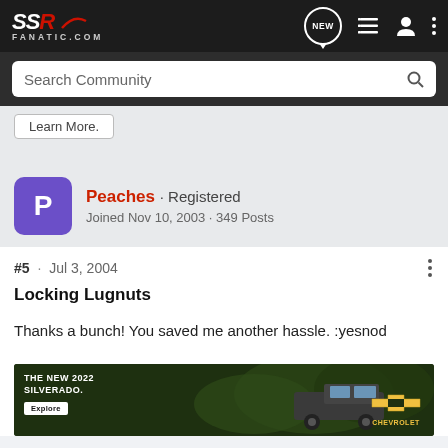SSR Fanatic.com — navigation bar with NEW bubble, list icon, user icon, three-dot menu
Search Community
Learn More.
Peaches · Registered
Joined Nov 10, 2003 · 349 Posts
#5 · Jul 3, 2004
Locking Lugnuts
Thanks a bunch! You saved me another hassle. :yesnod
[Figure (photo): Chevrolet ad banner: THE NEW 2022 SILVERADO. Explore button, truck in field background, Chevrolet logo]